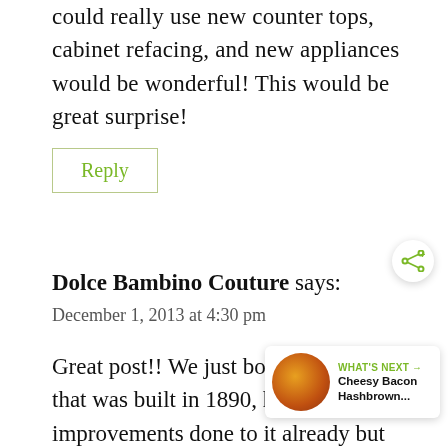could really use new counter tops, cabinet refacing, and new appliances would be wonderful! This would be great surprise!
Reply
Dolce Bambino Couture says:
December 1, 2013 at 4:30 pm
Great post!! We just bought a house that was built in 1890, had some improvements done to it already but still
[Figure (screenshot): WHAT'S NEXT overlay showing Cheesy Bacon Hashbrown... with a food thumbnail image and share icon]